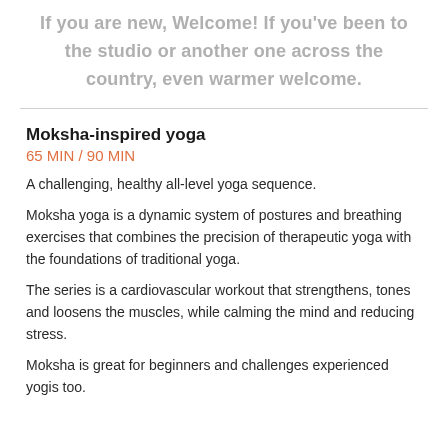If you are new, Welcome! If you've been to the studio or another one across the country, even warmer welcome.
Moksha-inspired yoga
65 MIN / 90 MIN
A challenging, healthy all-level yoga sequence.
Moksha yoga is a dynamic system of postures and breathing exercises that combines the precision of therapeutic yoga with the foundations of traditional yoga.
The series is a cardiovascular workout that strengthens, tones and loosens the muscles, while calming the mind and reducing stress.
Moksha is great for beginners and challenges experienced yogis too.